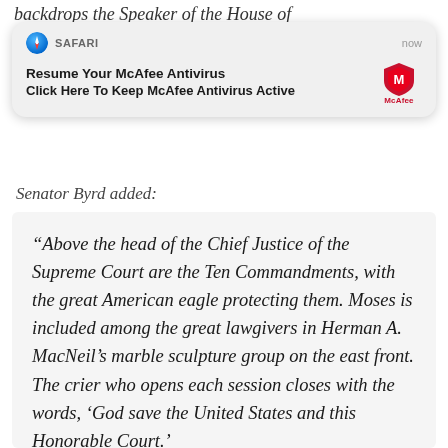backdrops the Speaker of the House of
[Figure (screenshot): Safari browser notification popup showing 'Resume Your McAfee Antivirus' with subtitle 'Click Here To Keep McAfee Antivirus Active' and McAfee logo icon, timestamped 'now']
Senator Byrd added:
“Above the head of the Chief Justice of the Supreme Court are the Ten Commandments, with the great American eagle protecting them. Moses is included among the great lawgivers in Herman A. MacNeil’s marble sculpture group on the east front. The crier who opens each session closes with the words, ‘God save the United States and this Honorable Court.’
Engraved on the metal on the top of the